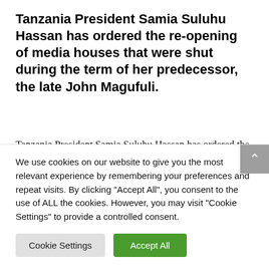Tanzania President Samia Suluhu Hassan has ordered the re-opening of media houses that were shut during the term of her predecessor, the late John Magufuli.
Tanzania President Samia Suluhu Hassan has ordered the re-opening of media houses that were shut during the term of her predecessor, the late John Magufuli,  a development that could lead to the thawing of hitherto
We use cookies on our website to give you the most relevant experience by remembering your preferences and repeat visits. By clicking "Accept All", you consent to the use of ALL the cookies. However, you may visit "Cookie Settings" to provide a controlled consent.